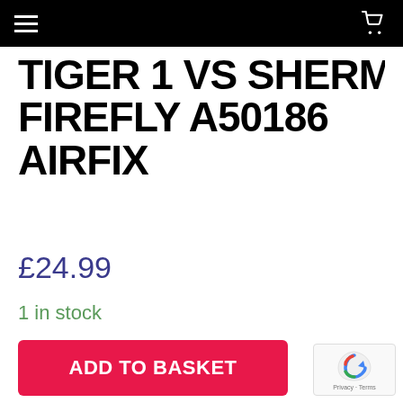Navigation header bar with hamburger menu and cart icon
TIGER 1 VS SHERMAN FIREFLY A50186 AIRFIX
£24.99
1 in stock
ADD TO BASKET